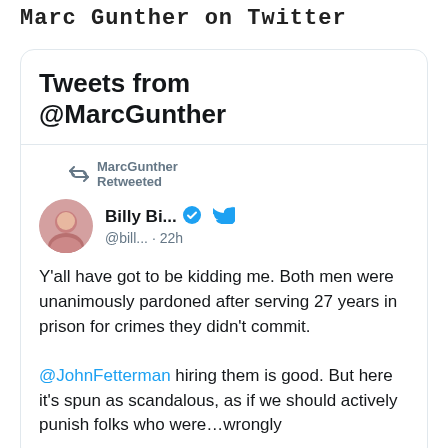Marc Gunther on Twitter
Tweets from @MarcGunther
MarcGunther Retweeted
Billy Bi... @bill... · 22h
Y'all have got to be kidding me. Both men were unanimously pardoned after serving 27 years in prison for crimes they didn't commit.

@JohnFetterman hiring them is good. But here it's spun as scandalous, as if we should actively punish folks who were…wrongly